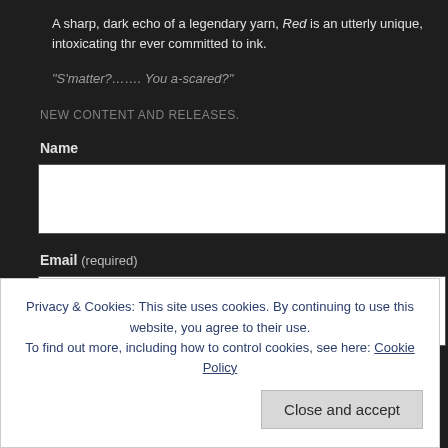A sharp, dark echo of a legendary yarn, Red is an utterly unique, intoxicating thr ever committed to ink.
“S’matter?…… You a-scared?”
NEW CONTENT AND RELEASES.
Name
Email (required)
Submit
Privacy & Cookies: This site uses cookies. By continuing to use this website, you agree to their use.
To find out more, including how to control cookies, see here: Cookie Policy
Close and accept